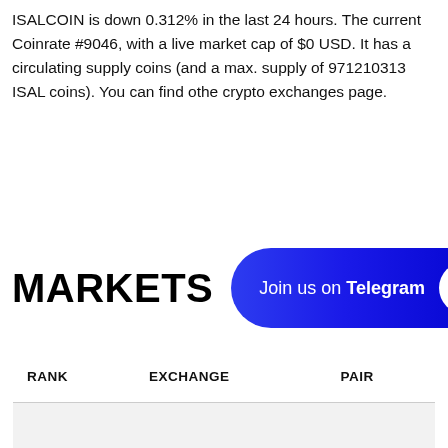ISALCOIN is down 0.312% in the last 24 hours. The current Coinrate #9046, with a live market cap of $0 USD. It has a circulating supply coins (and a max. supply of 971210313 ISAL coins). You can find othe crypto exchanges page.
MARKETS
[Figure (other): Join us on Telegram button with a blue gradient background and a white circular paper plane icon on the right]
| RANK | EXCHANGE | PAIR |
| --- | --- | --- |